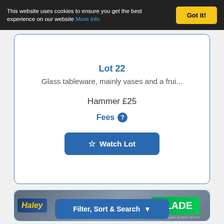This website uses cookies to ensure you get the best experience on our website More info
Got it!
Lot 22
Glass tableware, mainly vases and a frui...
Hammer £25
Fees ?
Watch Lot
[Figure (photo): Album covers showing Haley and Slade records]
Filter, Sort & Search